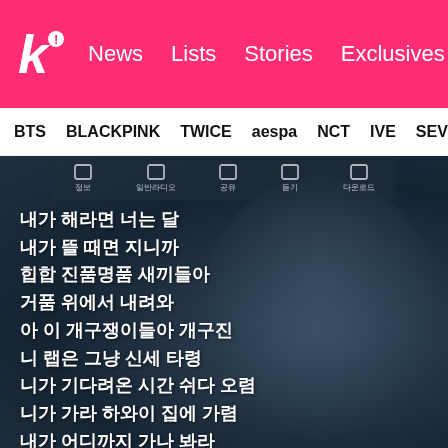k! News Lists Stories Exclusives
BTS BLACKPINK TWICE aespa NCT IVE SEVE
[Figure (screenshot): Mobile music player screenshot showing Korean song lyrics overlaid on a dark background silhouette image. Toolbar icons visible at top. White Korean text lyrics displayed line by line.]
내가 해라면 너는 달
내가 뜰 때면 지니까
힙합 진품명품 새끼들아
거품 위에서 내려와
아 이 개구쟁이들아 개구진
니 랩은 그냥 신세 타령
니가 기다려온 시간 쉬다 오렴
니가 가라 하와이 집에 가렴
내가 어디까지 가나 봐라
썩은 뿌릴 싹 다 갈아
잃어 모두 한판
예상하지 못한 파란